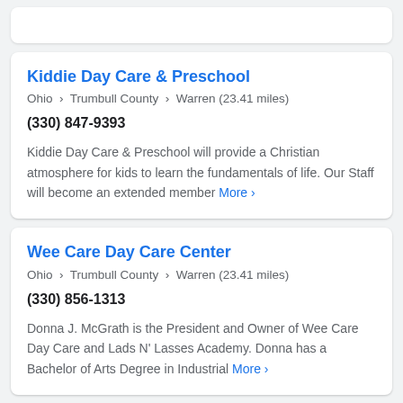Kiddie Day Care & Preschool
Ohio › Trumbull County › Warren (23.41 miles)
(330) 847-9393
Kiddie Day Care & Preschool will provide a Christian atmosphere for kids to learn the fundamentals of life. Our Staff will become an extended member More ›
Wee Care Day Care Center
Ohio › Trumbull County › Warren (23.41 miles)
(330) 856-1313
Donna J. McGrath is the President and Owner of Wee Care Day Care and Lads N' Lasses Academy. Donna has a Bachelor of Arts Degree in Industrial More ›